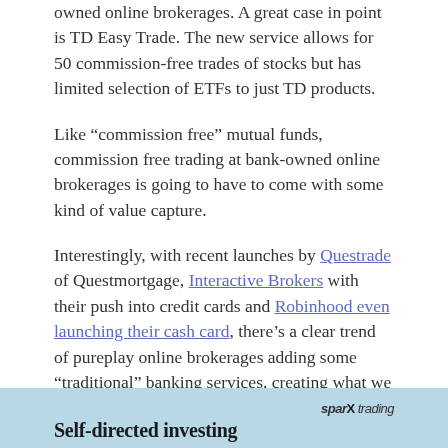owned online brokerages. A great case in point is TD Easy Trade. The new service allows for 50 commission-free trades of stocks but has limited selection of ETFs to just TD products.
Like “commission free” mutual funds, commission free trading at bank-owned online brokerages is going to have to come with some kind of value capture.
Interestingly, with recent launches by Questrade of Questmortgage, Interactive Brokers with their push into credit cards and Robinhood even launching their cash card, there’s a clear trend of pureplay online brokerages adding some “traditional” banking services, creating what we consider to be a “race to the middle” between fintech firms and incumbent financial services firms.
[Figure (other): Banner with light blue background showing 'Self-directed investing' section header and sparX trading logo]